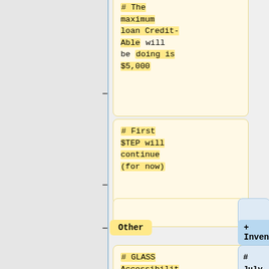# The maximum loan Credit-Able will be doing is $5,000
# First $TEP will continue (for now)
Other
Inventory
# GLASS Accessibility Conference - great job Tori and Johann!
# July 29-31st